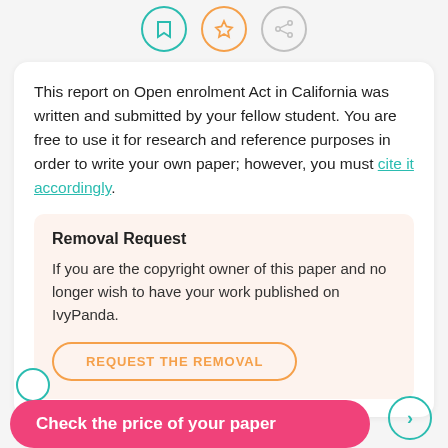[Figure (illustration): Three icon circles: teal bookmark, orange star, gray share icons]
This report on Open enrolment Act in California was written and submitted by your fellow student. You are free to use it for research and reference purposes in order to write your own paper; however, you must cite it accordingly.
Removal Request
If you are the copyright owner of this paper and no longer wish to have your work published on IvyPanda.
REQUEST THE REMOVAL
Check the price of your paper